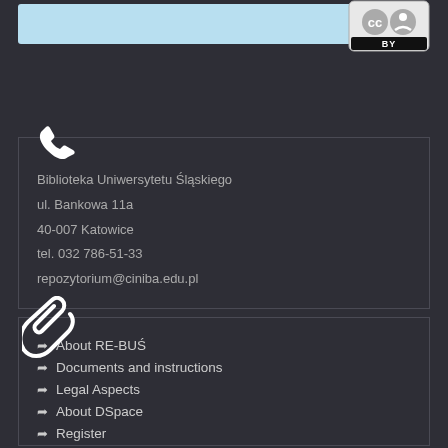[Figure (logo): Creative Commons CC BY license badge]
Biblioteka Uniwersytetu Śląskiego
ul. Bankowa 11a
40-007 Katowice
tel. 032 786-51-33
repozytorium@ciniba.edu.pl
About RE-BUŚ
Documents and instructions
Legal Aspects
About DSpace
Register
Help